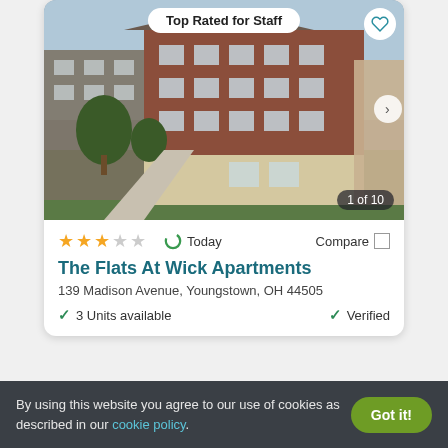Top Rated for Staff
[Figure (photo): Exterior photo of The Flats At Wick Apartments, a multi-story brick apartment building with trees and a sidewalk in the foreground. Badge shows '1 of 10'.]
★★★☆☆  Today  Compare
The Flats At Wick Apartments
139 Madison Avenue, Youngstown, OH 44505
✓ 3 Units available    ✓ Verified
By using this website you agree to our use of cookies as described in our cookie policy.